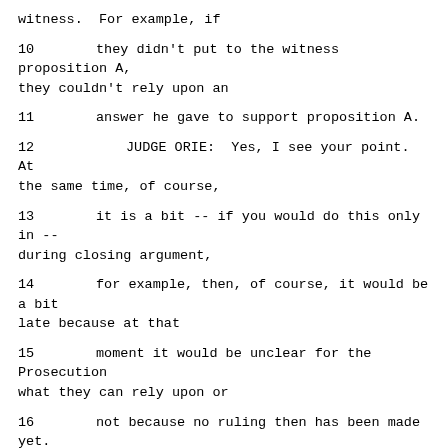witness.  For example, if
10     they didn't put to the witness proposition A, they couldn't rely upon an
11     answer he gave to support proposition A.
12          JUDGE ORIE:  Yes, I see your point.  At the same time, of course,
13     it is a bit -- if you would do this only in -- during closing argument,
14     for example, then, of course, it would be a bit late because at that
15     moment it would be unclear for the Prosecution what they can rely upon or
16     not because no ruling then has been made yet.